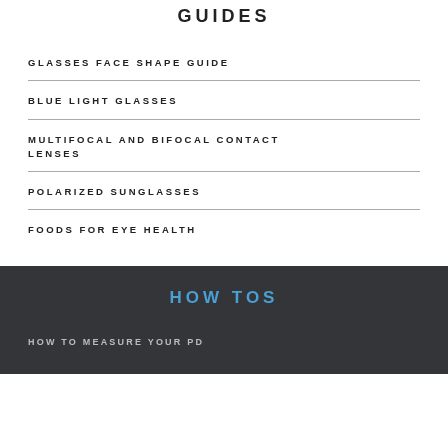GUIDES
GLASSES FACE SHAPE GUIDE
BLUE LIGHT GLASSES
MULTIFOCAL AND BIFOCAL CONTACT LENSES
POLARIZED SUNGLASSES
FOODS FOR EYE HEALTH
HOW TOS
HOW TO MEASURE YOUR PD